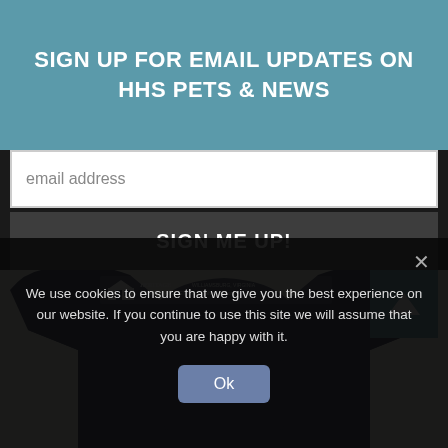SIGN UP FOR EMAIL UPDATES ON HHS PETS & NEWS
email address
SIGN ME UP!
[Figure (screenshot): Navy blue Heritage Humane Society branded sweatshirt with white logo reading HERITAGE WILLIAMSBURG VIRGINIA HUMANE SOCIETY heritagehumane.org]
We use cookies to ensure that we give you the best experience on our website. If you continue to use this site we will assume that you are happy with it.
Ok